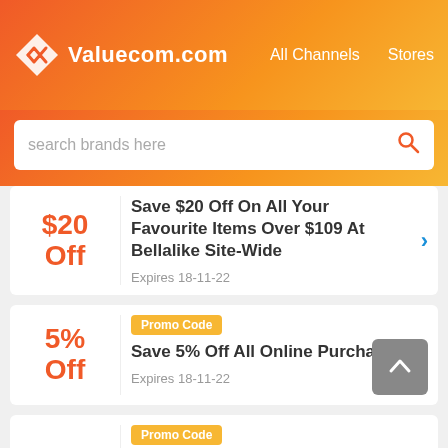Valuecom.com  All Channels  Stores
search brands here
$20 Off — Save $20 Off On All Your Favourite Items Over $109 At Bellalike Site-Wide — Expires 18-11-22
5% Off — Promo Code — Save 5% Off All Online Purchases — Expires 18-11-22
$20 — Promo Code — Save $20 Off Your Purchase Of $99+ At